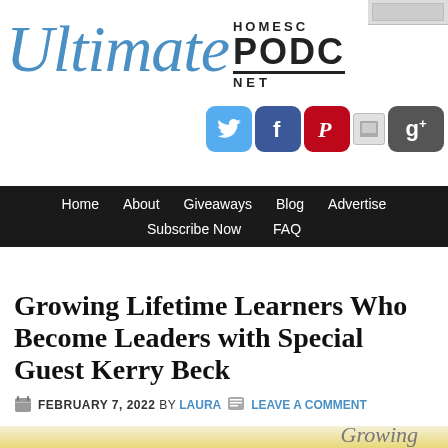[Figure (logo): Ultimate Homeschool Podcast Network logo with cursive 'Ultimate' in blue and 'HOMESC PODC NET' in bold black]
[Figure (infographic): Social media icons: Twitter (blue bird), Facebook (blue f), Pinterest (red P), small image icon, Google Plus (grey g+)]
Home   About   Giveaways   Blog   Advertise   Subscribe Now   FAQ
Growing Lifetime Learners Who Become Leaders with Special Guest Kerry Beck
FEBRUARY 7, 2022 BY LAURA   LEAVE A COMMENT
[Figure (illustration): Partial bottom image with decorative leaves/plant on left and cursive 'Growing' text partially visible]